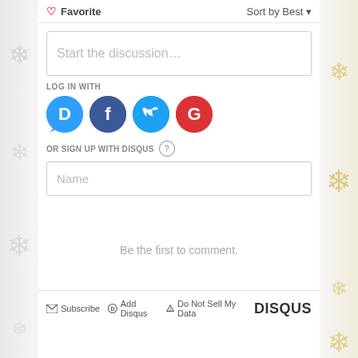♡ Favorite
Sort by Best ▾
Start the discussion…
LOG IN WITH
[Figure (illustration): Four social login icons: Disqus (blue circle with D), Facebook (dark blue circle with f), Twitter (light blue circle with bird), Google (red circle with G)]
OR SIGN UP WITH DISQUS ?
Name
Be the first to comment.
✉ Subscribe  D Add Disqus  ⚠ Do Not Sell My Data    DISQUS